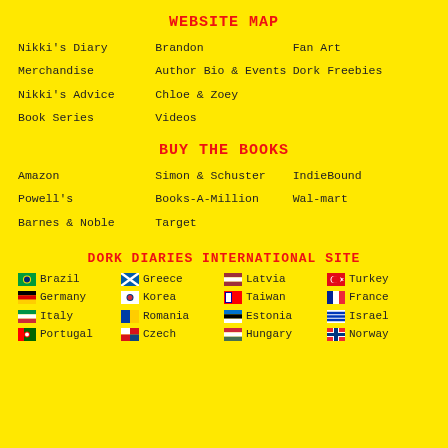WEBSITE MAP
Nikki's Diary
Brandon
Fan Art
Merchandise
Author Bio & Events
Dork Freebies
Nikki's Advice
Chloe & Zoey
Book Series
Videos
BUY THE BOOKS
Amazon
Simon & Schuster
IndieBound
Powell's
Books-A-Million
Wal-mart
Barnes & Noble
Target
DORK DIARIES INTERNATIONAL SITE
Brazil
Greece
Latvia
Turkey
Germany
Korea
Taiwan
France
Italy
Romania
Estonia
Israel
Portugal
Czech
Hungary
Norway